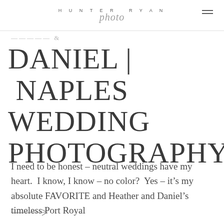HUNTERRYAN photo
DANIEL | NAPLES WEDDING PHOTOGRAPHY
I need to be honest – neutral weddings have my heart.  I know, I know – no color?  Yes – it's my absolute FAVORITE and Heather and Daniel's timeless Port Royal
[Figure (other): Right-pointing arrow icon]